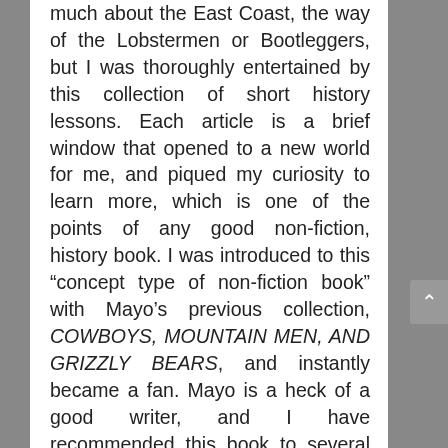much about the East Coast, the way of the Lobstermen or Bootleggers, but I was thoroughly entertained by this collection of short history lessons. Each article is a brief window that opened to a new world for me, and piqued my curiosity to learn more, which is one of the points of any good non-fiction, history book. I was introduced to this “concept type of non-fiction book” with Mayo’s previous collection, COWBOYS, MOUNTAIN MEN, AND GRIZZLY BEARS, and instantly became a fan. Mayo is a heck of a good writer, and I have recommended this book to several of my friends. Pick it up, you won’t be disappointed.”